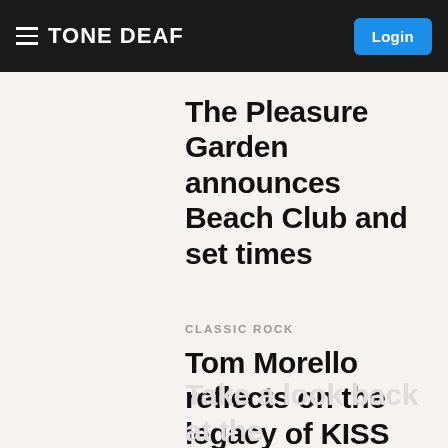TONE DEAF | Login
The Pleasure Garden announces Beach Club and set times
CLASSIC ROCK
Tom Morello reflects on the legacy of KISS
Take a look back at the